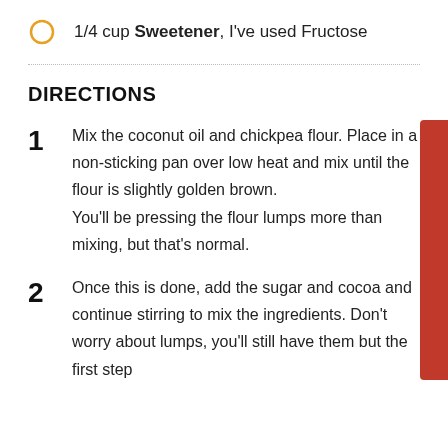1/4 cup Sweetener, I've used Fructose
DIRECTIONS
1 Mix the coconut oil and chickpea flour. Place in a non-sticking pan over low heat and mix until the flour is slightly golden brown. You'll be pressing the flour lumps more than mixing, but that's normal.
2 Once this is done, add the sugar and cocoa and continue stirring to mix the ingredients. Don't worry about lumps, you'll still have them but the first step